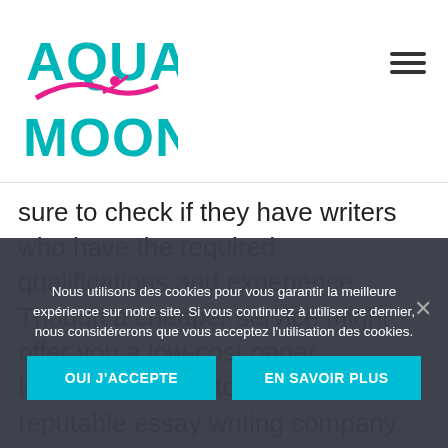[Figure (logo): AQUA MOON logo with teal text and pink swoosh with swimmer figure]
sure to check if they have writers who have the required qualifications and experience. Though a cheaper service might offer you a low-cost paper However, it's not top-quality. A reputable essay writing company will have competent writers with years of experience. Make sure you read reviews of the writers they employ. Be sure to select a company
Nous utilisons des cookies pour vous garantir la meilleure expérience sur notre site. Si vous continuez à utiliser ce dernier, nous considérerons que vous acceptez l'utilisation des cookies.
OUI J'ACCEPTE
EN SAVOIR PLUS